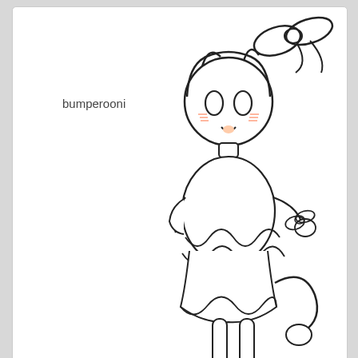bumperooni
[Figure (illustration): Chibi anime-style cat girl character sketch in black and white line art, with cat ears, large bow on head, smaller bow in hand, wearing a frilly dress, with a happy expression]
[Figure (illustration): User avatar image showing an anime character with pink hair, dark floral elements, yellow wings, and berry decorations]
Posted in Status update for our Volties! Posted 2 months ago